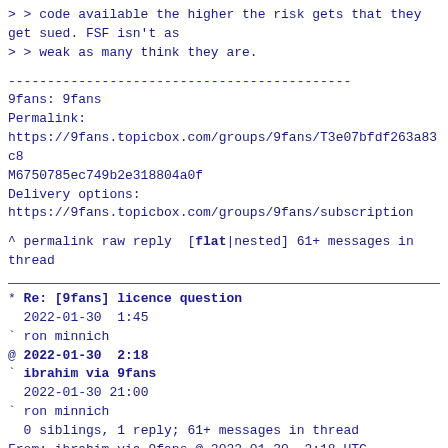> > code available the higher the risk gets that they get sued. FSF isn't as
> > weak as many think they are.
--------------------------------------------
9fans: 9fans
Permalink:
https://9fans.topicbox.com/groups/9fans/T3e07bfdf263a83c8M6750785ec749b2e318804a0f
Delivery options:
https://9fans.topicbox.com/groups/9fans/subscription
^ permalink raw reply  [flat|nested] 61+ messages in thread
* Re: [9fans] licence question
  2022-01-30  1:45
` ron minnich
@ 2022-01-30  2:18
` ibrahim via 9fans
  2022-01-30 21:00
` ron minnich
  0 siblings, 1 reply; 61+ messages in thread
From: ibrahim via 9fans @ 2022-01-30  2:18 UTC
(permalink / raw)
  To: 9fans

[-- Attachment #1: Type: text/plain, Size: 1331 bytes --]